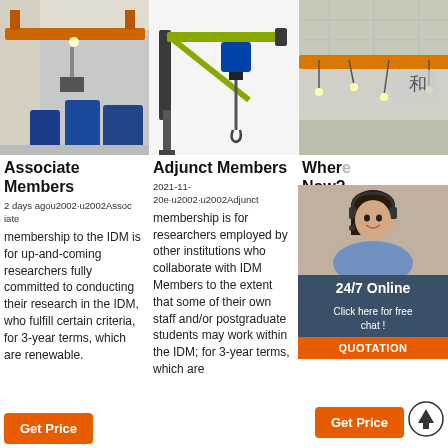[Figure (photo): Overhead bridge crane in an industrial warehouse]
[Figure (photo): Wall-mounted jib crane with electric hoist, yellow/green, on white background]
[Figure (photo): Overhead crane rail system mounted on ceiling of industrial building]
Associate Members
2 days agou2002·u2002Associate membership to the IDM is for up-and-coming researchers fully committed to conducting their research in the IDM, who fulfill certain criteria, for 3-year terms, which are renewable.
Adjunct Members
2021-11-20e·u2002·u2002Adjunct membership is for researchers employed by other institutions who collaborate with IDM Members to the extent that some of their own staff and/or postgraduate students may work within the IDM; for 3-year terms, which are
Where Now?
Take A S At The M Coming Week (8 Reactio Out Now In Theaters; New Movie Releases This Weekend: November 19-21
[Figure (photo): Customer service agent woman with headset, 24/7 Online chat overlay with Click here for free chat and QUOTATION button]